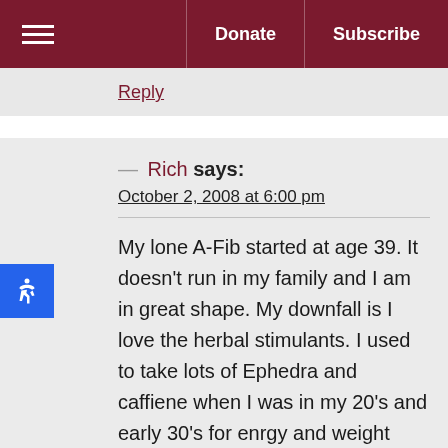≡  Donate  Subscribe
Reply
— Rich says:
October 2, 2008 at 6:00 pm
My lone A-Fib started at age 39. It doesn't run in my family and I am in great shape. My downfall is I love the herbal stimulants. I used to take lots of Ephedra and caffiene when I was in my 20's and early 30's for enrgy and weight loss. I have never smoked and was